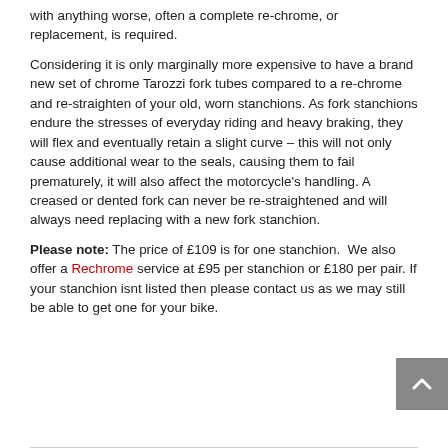with anything worse, often a complete re-chrome, or replacement, is required.
Considering it is only marginally more expensive to have a brand new set of chrome Tarozzi fork tubes compared to a re-chrome and re-straighten of your old, worn stanchions. As fork stanchions endure the stresses of everyday riding and heavy braking, they will flex and eventually retain a slight curve – this will not only cause additional wear to the seals, causing them to fail prematurely, it will also affect the motorcycle's handling. A creased or dented fork can never be re-straightened and will always need replacing with a new fork stanchion.
Please note: The price of £109 is for one stanchion. We also offer a Rechrome service at £95 per stanchion or £180 per pair. If your stanchion isnt listed then please contact us as we may still be able to get one for your bike.